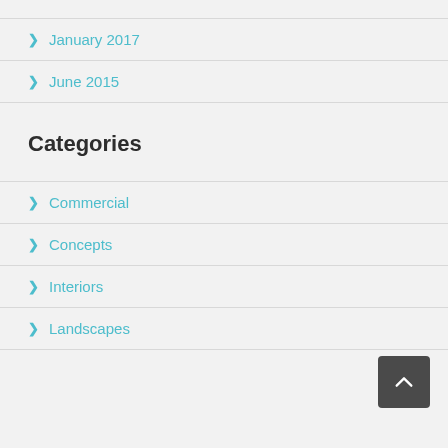January 2017
June 2015
Categories
Commercial
Concepts
Interiors
Landscapes